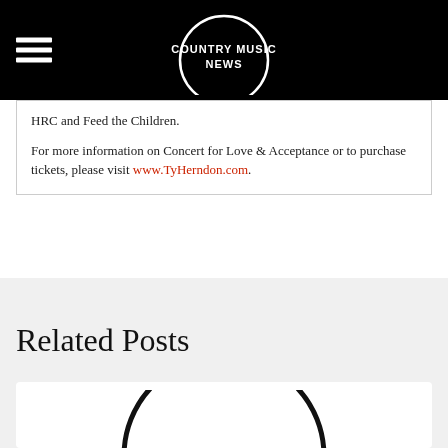COUNTRY MUSIC NEWS
HRC and Feed the Children.
For more information on Concert for Love & Acceptance or to purchase tickets, please visit www.TyHerndon.com.
Related Posts
[Figure (logo): Country Music News circular logo arc at bottom of page in a white card]